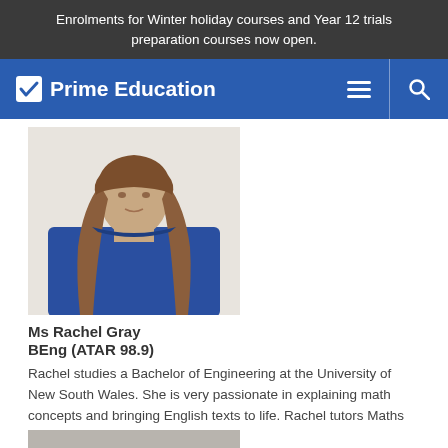Enrolments for Winter holiday courses and Year 12 trials preparation courses now open.
[Figure (logo): Prime Education logo with blue navigation bar, hamburger menu icon, and search icon]
[Figure (photo): Photo of Ms Rachel Gray, a woman with long brown hair wearing a blue top, cropped to show upper body]
Ms Rachel Gray
BEng (ATAR 98.9)
Rachel studies a Bachelor of Engineering at the University of New South Wales. She is very passionate in explaining math concepts and bringing English texts to life. Rachel tutors Maths and English at Prime.